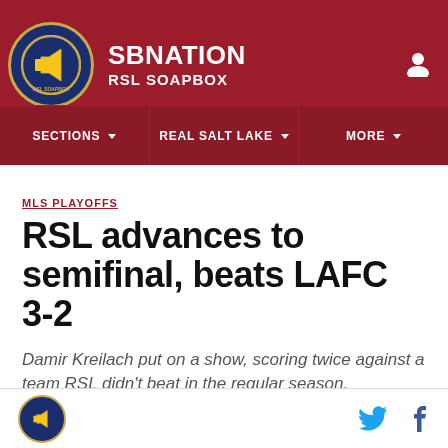SBNation — RSL SOAPBOX
MLS PLAYOFFS
RSL advances to semifinal, beats LAFC 3-2
Damir Kreilach put on a show, scoring twice against a team RSL didn't beat in the regular season.